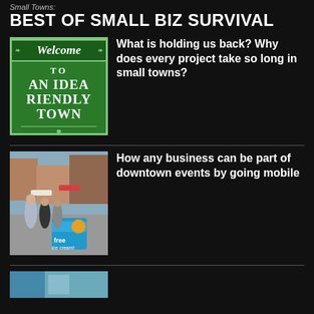Small Towns:
BEST OF SMALL BIZ SURVIVAL
[Figure (illustration): Green welcome sign reading 'Welcome TO AN IDEA RIENDLY TOWN']
What is holding us back? Why does every project take so long in small towns?
[Figure (photo): Group of young women at an outdoor downtown event next to a blue cart with 'free ice cream!' text]
How any business can be part of downtown events by going mobile
[Figure (photo): Partial image at bottom, partially visible]